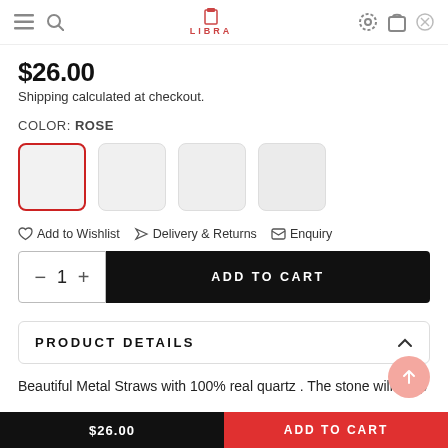Navigation bar with hamburger, search, logo (LIBRA), settings, cart, and close icons
$26.00
Shipping calculated at checkout.
COLOR: ROSE
[Figure (other): Four color swatch squares, the first selected with red border]
Add to Wishlist   Delivery & Returns   Enquiry
Quantity selector (−  1  +) and ADD TO CART button
PRODUCT DETAILS
Beautiful Metal Straws with 100% real quartz . The stone will keep
$26.00   ADD TO CART